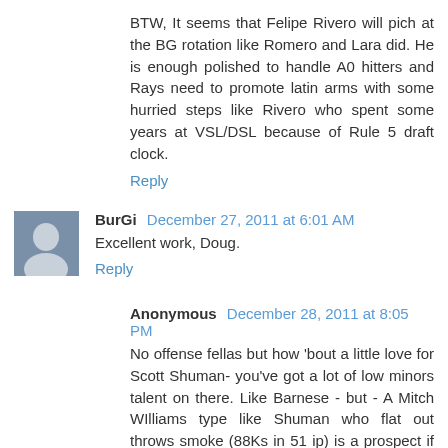BTW, It seems that Felipe Rivero will pich at the BG rotation like Romero and Lara did. He is enough polished to handle A0 hitters and Rays need to promote latin arms with some hurried steps like Rivero who spent some years at VSL/DSL because of Rule 5 draft clock.
Reply
BurGi December 27, 2011 at 6:01 AM
Excellent work, Doug.
Reply
Anonymous December 28, 2011 at 8:05 PM
No offense fellas but how 'bout a little love for Scott Shuman- you've got a lot of low minors talent on there. Like Barnese - but - A Mitch WIlliams type like Shuman who flat out throws smoke (88Ks in 51 ip) is a prospect if he ever gets just a bit more control.